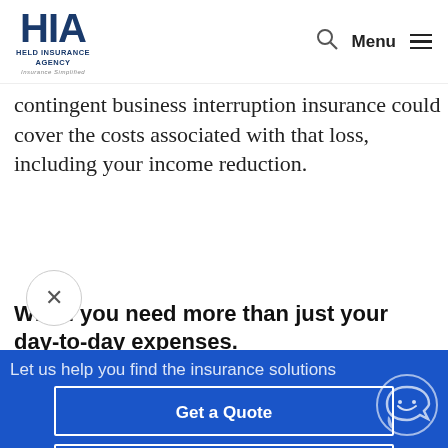HIA Held Insurance Agency Insurance Simplified | Menu
contingent business interruption insurance could cover the costs associated with that loss, including your income reduction.
When you need more than just your day-to-day expenses.
Let us help you find the insurance solutions
Get a Quote
Call 847-264-4644